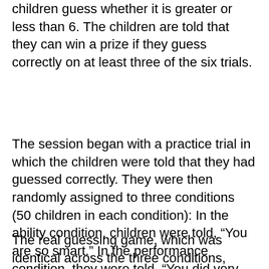children guess whether it is greater or less than 6. The children are told that they can win a prize if they guess correctly on at least three of the six trials.
The session began with a practice trial in which the children were told that they had guessed correctly. They were then randomly assigned to three conditions (50 children in each condition): In the ability condition, children were told, “You are so smart.” In the performance condition, they were told, “You did very well this time.” In the baseline condition, no praise was given.
The real guessing game, which was identical across the three conditions, followed this practice trial. On each trial, the children were instructed not